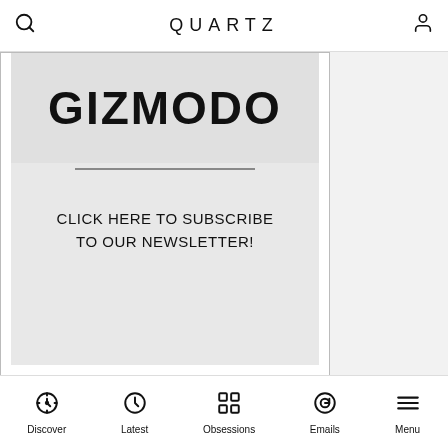QUARTZ
[Figure (screenshot): Gizmodo newsletter subscription advertisement block showing GIZMODO logo and text: CLICK HERE TO SUBSCRIBE TO OUR NEWSLETTER!]
Discover | Latest | Obsessions | Emails | Menu